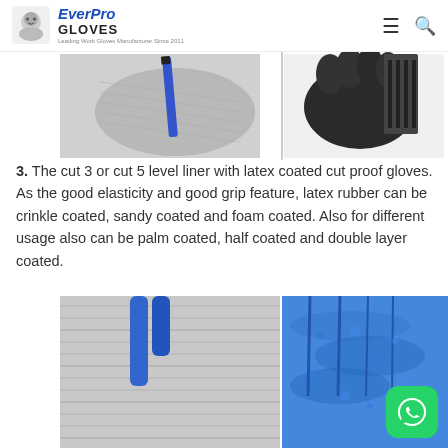EverPro GLOVES — Leading Work Gloves Manufacturer Since 2011
[Figure (photo): Two close-up photos of cut-resistant gloves: left shows a gray HPPE liner glove holding a pen/pencil, right shows a black coated glove gripping a comb or ridged surface.]
3. The cut 3 or cut 5 level liner with latex coated cut proof gloves. As the good elasticity and good grip feature, latex rubber can be crinkle coated, sandy coated and foam coated. Also for different usage also can be palm coated, half coated and double layer coated.
[Figure (photo): Two close-up photos of coated gloves: left shows a gray crinkle latex coated cut-resistant glove, right shows a blue foam/sandy latex coated glove showing finger detail.]